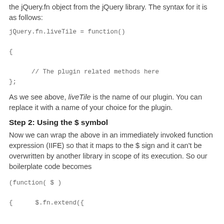the jQuery.fn object from the jQuery library. The syntax for it is as follows:
As we see above, liveTile is the name of our plugin. You can replace it with a name of your choice for the plugin.
Step 2: Using the $ symbol
Now we can wrap the above in an immediately invoked function expression (IIFE) so that it maps to the $ sign and it can't be overwritten by another library in scope of its execution. So our boilerplate code becomes